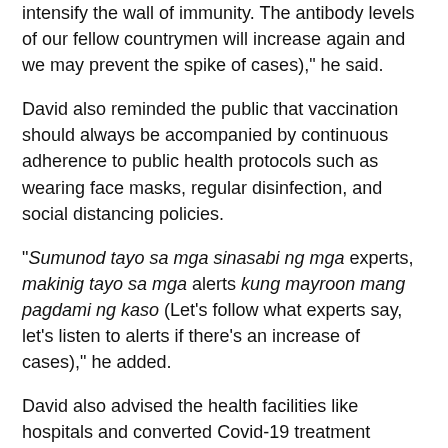intensify the wall of immunity. The antibody levels of our fellow countrymen will increase again and we may prevent the spike of cases)," he said.
David also reminded the public that vaccination should always be accompanied by continuous adherence to public health protocols such as wearing face masks, regular disinfection, and social distancing policies.
“Sumunod tayo sa mga sinasabi ng mga experts, makinig tayo sa mga alerts kung mayroon mang pagdami ng kaso (Let’s follow what experts say, let’s listen to alerts if there’s an increase of cases),” he added.
David also advised the health facilities like hospitals and converted Covid-19 treatment facilities to be always ready, if Covid-19 active cases will spike again.
To date, the second booster shot is only available for immunocompromised individuals, healthcare workers, and senior citizens, with 30,912 doses being administered, as of last week. (PNA)